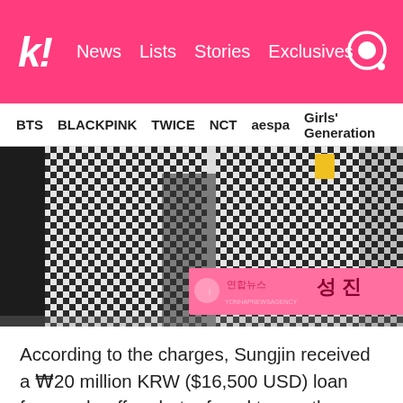K! News Lists Stories Exclusives
BTS BLACKPINK TWICE NCT aespa Girls' Generation
[Figure (photo): Photo of Sungjin in a black and white checkered outfit at what appears to be a press event, with a pink Yonhap News Agency banner visible showing Korean text]
According to the charges, Sungjin received a ₩20 million KRW ($16,500 USD) loan from a chauffeur but refused to pay the money back. He initially claimed he borrowed to money for an acquaintance. However, the courts later revealed that Sungjin also had gambling debts of a staggering ₩133 million KRW ($110,500